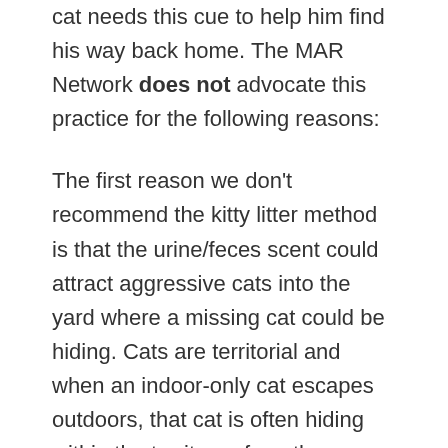cat needs this cue to help him find his way back home. The MAR Network does not advocate this practice for the following reasons:
The first reason we don't recommend the kitty litter method is that the urine/feces scent could attract aggressive cats into the yard where a missing cat could be hiding. Cats are territorial and when an indoor-only cat escapes outdoors, that cat is often hiding within the territory of another (outside) neighborhood cat. Dirty cat litter can attract community “tom” cats (intact male cats) or other territory neighborhood cats and that